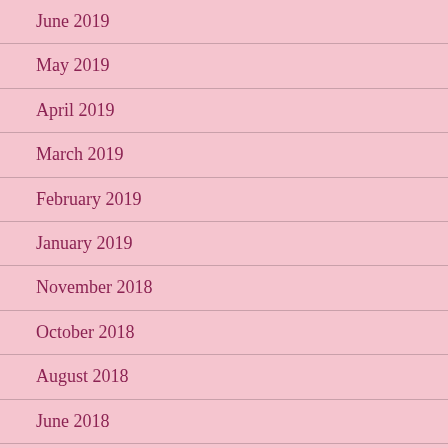June 2019
May 2019
April 2019
March 2019
February 2019
January 2019
November 2018
October 2018
August 2018
June 2018
May 2018
April 2018